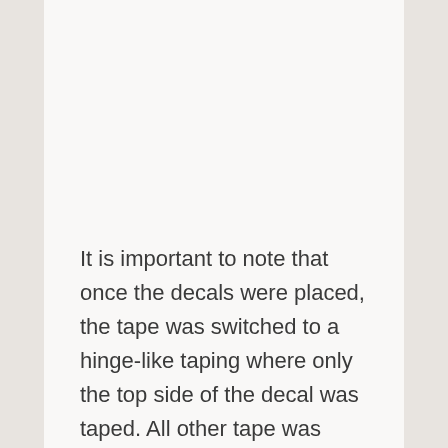It is important to note that once the decals were placed, the tape was switched to a hinge-like taping where only the top side of the decal was taped. All other tape was removed. This is important in the next step.